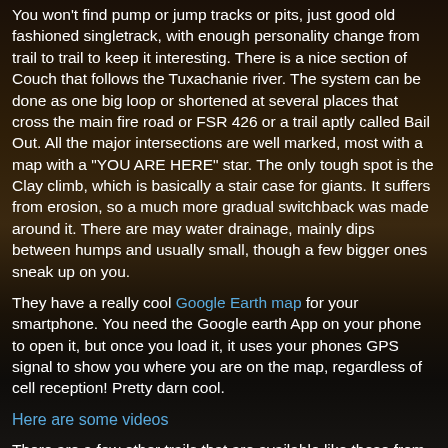You won't find pump or jump tracks or pits, just good old fashioned singletrack, with enough personality change from trail to trail to keep it interesting.  There is a nice section of Couch that follows the Tuxachanie river.  The system can be done as one big loop or shortened at several places that cross the main fire road or FSR 426 or a trail aptly called Bail Out.  All the major intersections are well marked, most with a map with a "YOU ARE HERE" star.  The only tough spot is the Clay climb, which is basically a stair case for giants.  It suffers from erosion, so a much more gradual switchback was made around it.  There are may water drainage, mainly dips between humps and usually small, though a few bigger ones sneak up on you.
They have a really cool Google Earth map for your smartphone.  You need the Google earth App on your phone to open it, but once you load it, it uses your phones GPS signal to show you where you are on the map, regardless of cell reception!  Pretty darn cool.
Here are some videos
There are a few other trails that are available like these from